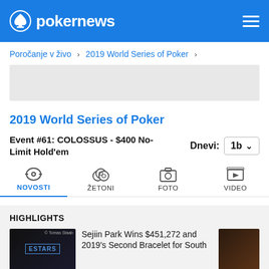pokernews
Poročanje v živo > 2019 World Series of Poker >
[Figure (other): Advertisement placeholder gray box]
2019 World Series of Poker
Event #61: COLOSSUS - $400 No-Limit Hold'em    Dnevi: 1b
NOVOSTI   ŽETONI   FOTO   VIDEO
HIGHLIGHTS
Sejiin Park Wins $451,272 and 2019's Second Bracelet for South